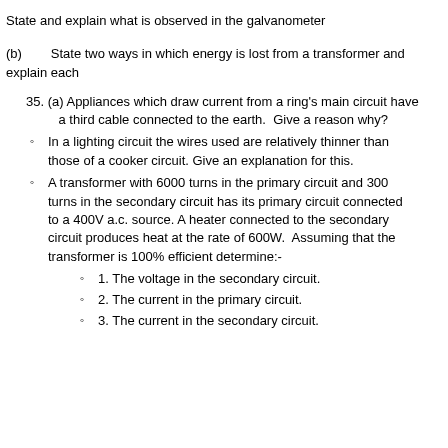State and explain what is observed in the galvanometer
(b)      State two ways in which energy is lost from a transformer and explain each
35. (a) Appliances which draw current from a ring's main circuit have a third cable connected to the earth.  Give a reason why?
In a lighting circuit the wires used are relatively thinner than those of a cooker circuit. Give an explanation for this.
A transformer with 6000 turns in the primary circuit and 300 turns in the secondary circuit has its primary circuit connected to a 400V a.c. source. A heater connected to the secondary circuit produces heat at the rate of 600W.  Assuming that the transformer is 100% efficient determine:-
1. The voltage in the secondary circuit.
2. The current in the primary circuit.
3. The current in the secondary circuit.